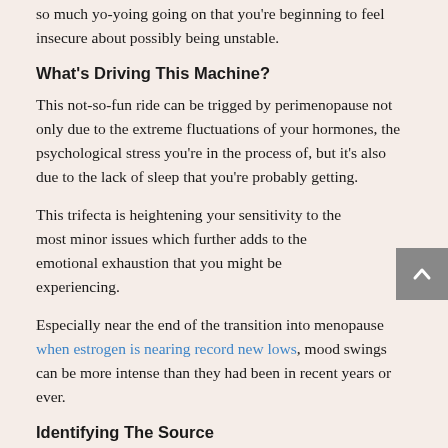so much yo-yoing going on that you're beginning to feel insecure about possibly being unstable.
What's Driving This Machine?
This not-so-fun ride can be trigged by perimenopause not only due to the extreme fluctuations of your hormones, the psychological stress you're in the process of, but it's also due to the lack of sleep that you're probably getting.
This trifecta is heightening your sensitivity to the most minor issues which further adds to the emotional exhaustion that you might be experiencing.
Especially near the end of the transition into menopause when estrogen is nearing record new lows, mood swings can be more intense than they had been in recent years or ever.
Identifying The Source